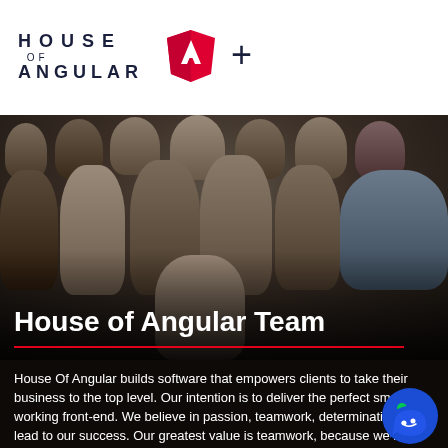[Figure (logo): House of Angular logo with text 'HOUSE OF ANGULAR', Angular shield icon in red, and a plus sign]
[Figure (photo): Group photo of the House of Angular team — approximately 12-13 people posing together in a dark-toned indoor setting]
House of Angular Team
House Of Angular builds software that empowers clients to take their business to the top level. Our intention is to deliver the perfect smoothly working front-end. We believe in passion, teamwork, determination that lead to our success. Our greatest value is teamwork, because we know how to be a great team! Let's get know each other!